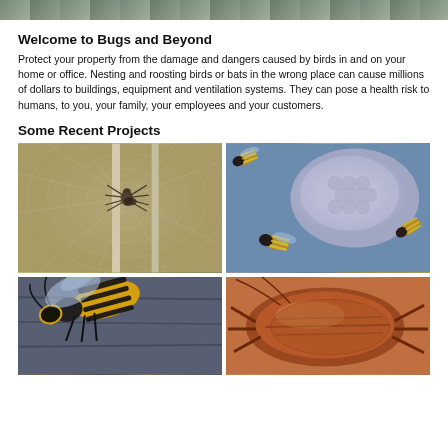[Figure (photo): Top banner photo showing wildlife/nature scene]
Welcome to Bugs and Beyond
Protect your property from the damage and dangers caused by birds in and on your home or office. Nesting and roosting birds or bats in the wrong place can cause millions of dollars to buildings, equipment and ventilation systems. They can pose a health risk to humans, to you, your family, your employees and your customers.
Some Recent Projects
[Figure (photo): Spider on a web, sepia-toned close-up photo]
[Figure (photo): Wasps clustered around a grey paper wasp nest]
[Figure (photo): Yellow jacket wasp on a wooden surface]
[Figure (photo): Cockroach close-up macro photo, reddish-brown]